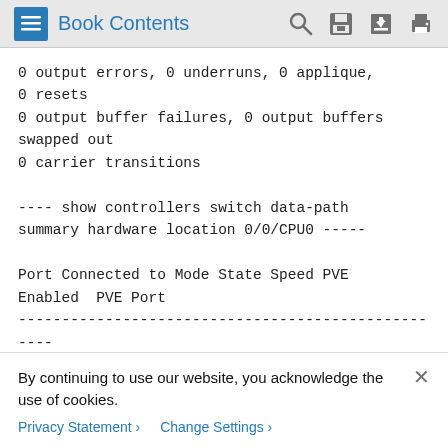Book Contents
0 output errors, 0 underruns, 0 applique,
0 resets
0 output buffer failures, 0 output buffers swapped out
0 carrier transitions

---- show controllers switch data-path summary hardware location 0/0/CPU0 -----

Port Connected to Mode State Speed PVE Enabled PVE Port
-------------------------------------------------------------------
-------------------------------------------------------------------
0 N-0, 0 Xaui Up 10-Gbps No -
2 N-0, 1 Xaui Up 10-Gbps No
By continuing to use our website, you acknowledge the use of cookies.
Privacy Statement > Change Settings >